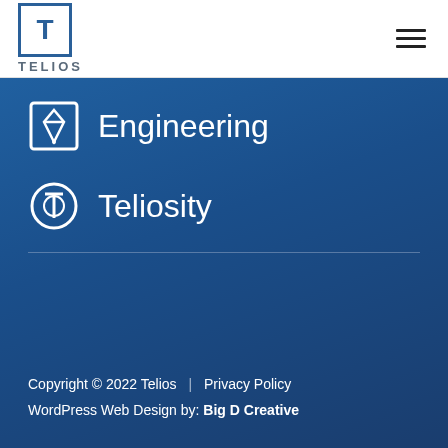[Figure (logo): Telios logo with stylized T in a square box and TELIOS text below]
Engineering
Teliosity
Copyright © 2022 Telios | Privacy Policy
WordPress Web Design by: Big D Creative